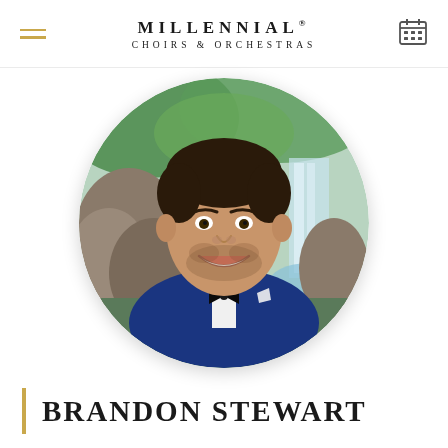MILLENNIAL® CHOIRS & ORCHESTRAS
[Figure (photo): Circular headshot photo of Brandon Stewart, a man wearing a blue tuxedo jacket with black lapels and black bow tie, white dress shirt, smiling, with an outdoor waterfall and greenery background]
BRANDON STEWART